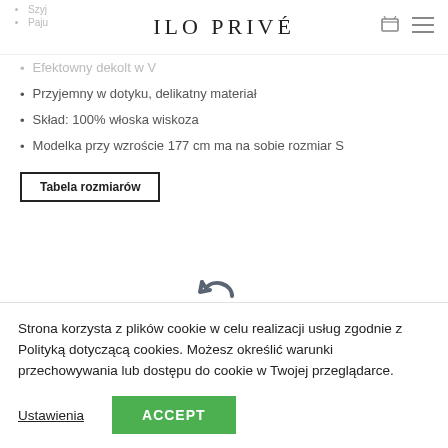ILO PRIVÉ
Szyj
Paju
Efektowny dekolt w V
Przyjemny w dotyku, delikatny materiał
Skład: 100% włoska wiskoza
Modelka przy wzroście 177 cm ma na sobie rozmiar S
Tabela rozmiarów
[Figure (illustration): Curved return/refresh arrow icon in dark grey]
Strona korzysta z plików cookie w celu realizacji usług zgodnie z Polityką dotyczącą cookies. Możesz określić warunki przechowywania lub dostępu do cookie w Twojej przeglądarce.
Ustawienia
ACCEPT